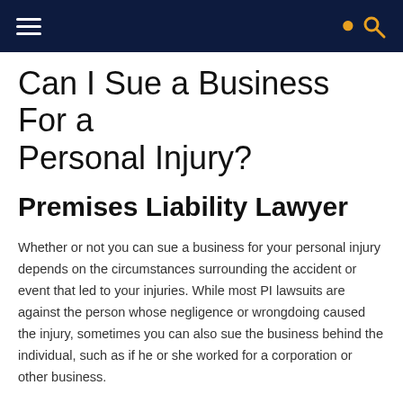[Navigation bar with hamburger menu and search icon]
Can I Sue a Business For a Personal Injury?
Premises Liability Lawyer
Whether or not you can sue a business for your personal injury depends on the circumstances surrounding the accident or event that led to your injuries. While most PI lawsuits are against the person whose negligence or wrongdoing caused the injury, sometimes you can also sue the business behind the individual, such as if he or she worked for a corporation or other business.
As a premises liability lawyer in Kansas City, MO from a firm